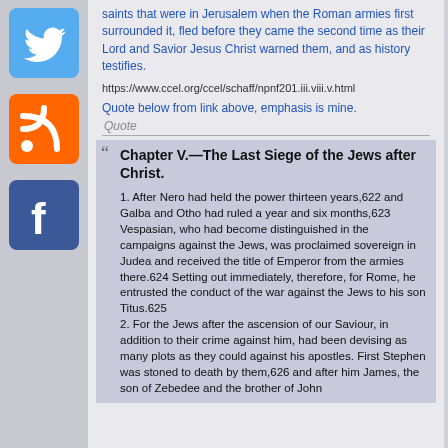saints that were in Jerusalem when the Roman armies first surrounded it, fled before they came the second time as their Lord and Savior Jesus Christ warned them, and as history testifies.
https://www.ccel.org/ccel/schaff/npnf201.iii.viii.v.html
Quote below from link above, emphasis is mine.
[Figure (logo): Twitter social media icon (blue bird)]
[Figure (logo): RSS feed icon (orange)]
[Figure (logo): Facebook icon (blue F)]
Chapter V.—The Last Siege of the Jews after Christ.
1. After Nero had held the power thirteen years,622 and Galba and Otho had ruled a year and six months,623 Vespasian, who had become distinguished in the campaigns against the Jews, was proclaimed sovereign in Judea and received the title of Emperor from the armies there.624 Setting out immediately, therefore, for Rome, he entrusted the conduct of the war against the Jews to his son Titus.625
2. For the Jews after the ascension of our Saviour, in addition to their crime against him, had been devising as many plots as they could against his apostles. First Stephen was stoned to death by them,626 and after him James, the son of Zebedee and the brother of John